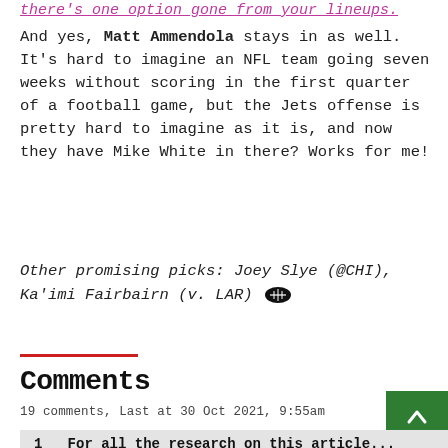there's one option gone from your lineups.
And yes, Matt Ammendola stays in as well. It's hard to imagine an NFL team going seven weeks without scoring in the first quarter of a football game, but the Jets offense is pretty hard to imagine as it is, and now they have Mike White in there? Works for me!
Other promising picks: Joey Slye (@CHI), Ka'imi Fairbairn (v. LAR) 🏈
Comments
19 comments, Last at 30 Oct 2021, 9:55am
1  For all the research on this article...